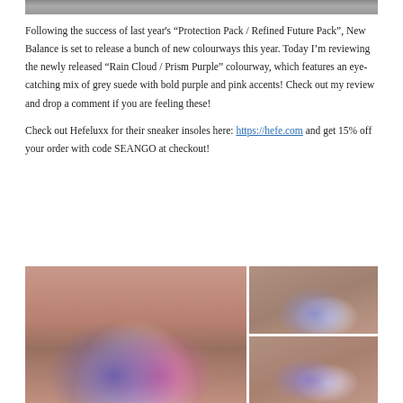[Figure (photo): Top edge of a shoe photo, partially visible at the top of the page]
Following the success of last year's “Protection Pack / Refined Future Pack”, New Balance is set to release a bunch of new colourways this year. Today I’m reviewing the newly released “Rain Cloud / Prism Purple” colourway, which features an eye-catching mix of grey suede with bold purple and pink accents! Check out my review and drop a comment if you are feeling these!
Check out Hefeluxx for their sneaker insoles here: https://hefe.com and get 15% off your order with code SEANGO at checkout!
[Figure (photo): Two New Balance sneakers (Rain Cloud / Prism Purple colourway) placed against a weathered pink/red wall, left side larger image]
[Figure (photo): New Balance sneaker (Rain Cloud / Prism Purple colourway) side view, top right]
[Figure (photo): New Balance sneaker (Rain Cloud / Prism Purple colourway) angled view, bottom right, partially cut off]